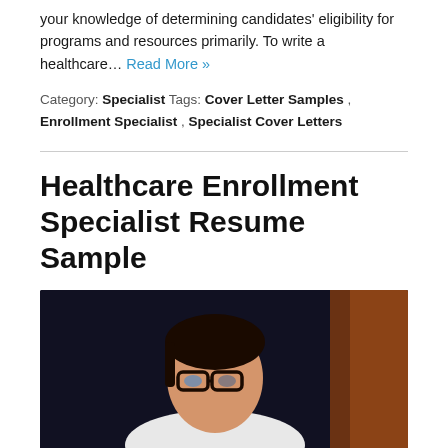your knowledge of determining candidates' eligibility for programs and resources primarily. To write a healthcare… Read More »
Category: Specialist Tags: Cover Letter Samples , Enrollment Specialist , Specialist Cover Letters
Healthcare Enrollment Specialist Resume Sample
[Figure (photo): A woman with glasses looking at a screen in a dark environment, with another person partially visible on the right.]